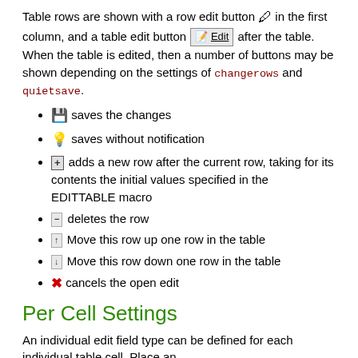Table rows are shown with a row edit button 🖊 in the first column, and a table edit button [Edit] after the table. When the table is edited, then a number of buttons may be shown depending on the settings of changerows and quietsave.
💾 saves the changes
💡 saves without notification
+ adds a new row after the current row, taking for its contents the initial values specified in the EDITTABLE macro
— deletes the row
↑ Move this row up one row in the table
↓ Move this row down one row in the table
✗ cancels the open edit
Per Cell Settings
An individual edit field type can be defined for each individual table cell. Place an %EDITCELL{ "type, ..." }% macro at the end of the cell content. This is useful to override the per column %EDITTABLE{ format="..." }% settings, or to